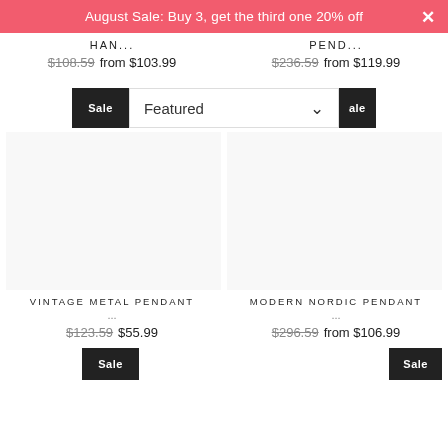August Sale: Buy 3, get the third one 20% off
HAN...
$108.59  from $103.99
PEND...
$236.59  from $119.99
Sale  Featured  Sale
[Figure (photo): Product image area for Vintage Metal Pendant (blank/white product photo)]
[Figure (photo): Product image area for Modern Nordic Pendant (blank/white product photo)]
VINTAGE METAL PENDANT ...
$123.59  $55.99
MODERN NORDIC PENDANT ...
$296.59  from $106.99
Sale  Sale